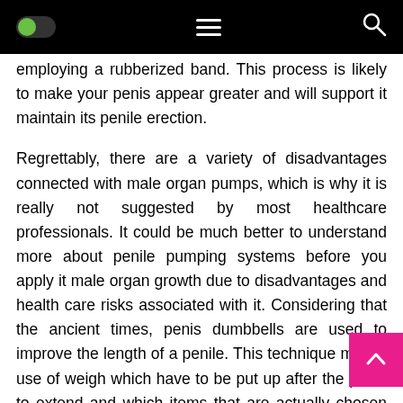[Navigation bar with toggle, hamburger menu, and search icon]
employing a rubberized band. This process is likely to make your penis appear greater and will support it maintain its penile erection.
Regrettably, there are a variety of disadvantages connected with male organ pumps, which is why it is really not suggested by most healthcare professionals. It could be much better to understand more about penile pumping systems before you apply it male organ growth due to disadvantages and health care risks associated with it. Considering that the ancient times, penis dumbbells are used to improve the length of a penile. This technique makes use of weights which have to be put up after the penis to extend and which items that are actually chosen by most of the